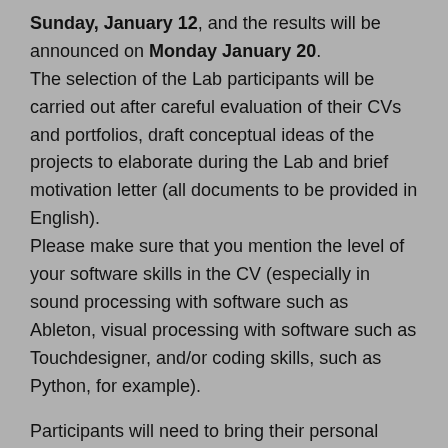Sunday, January 12, and the results will be announced on Monday January 20. The selection of the Lab participants will be carried out after careful evaluation of their CVs and portfolios, draft conceptual ideas of the projects to elaborate during the Lab and brief motivation letter (all documents to be provided in English). Please make sure that you mention the level of your software skills in the CV (especially in sound processing with software such as Ableton, visual processing with software such as Touchdesigner, and/or coding skills, such as Python, for example).
Participants will need to bring their personal computers with adequate computing power